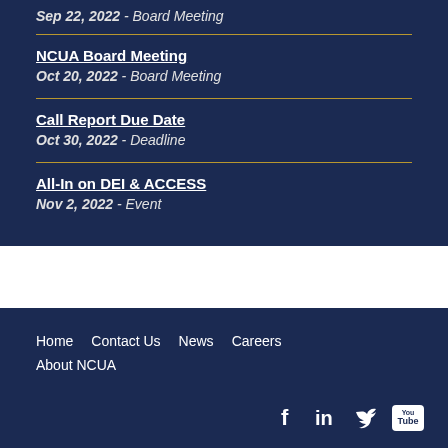Sep 22, 2022 - Board Meeting
NCUA Board Meeting
Oct 20, 2022 - Board Meeting
Call Report Due Date
Oct 30, 2022 - Deadline
All-In on DEI & ACCESS
Nov 2, 2022 - Event
Home  Contact Us  News  Careers  About NCUA